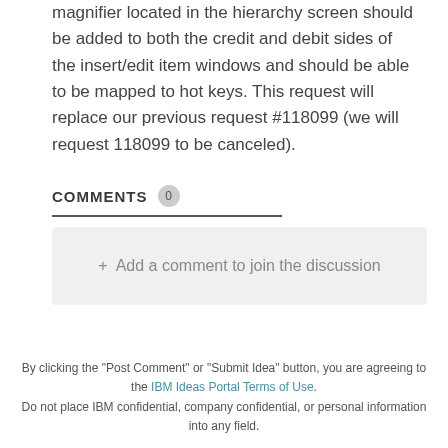magnifier located in the hierarchy screen should be added to both the credit and debit sides of the insert/edit item windows and should be able to be mapped to hot keys. This request will replace our previous request #118099 (we will request 118099 to be canceled).
COMMENTS 0
+ Add a comment to join the discussion
By clicking the "Post Comment" or "Submit Idea" button, you are agreeing to the IBM Ideas Portal Terms of Use. Do not place IBM confidential, company confidential, or personal information into any field.